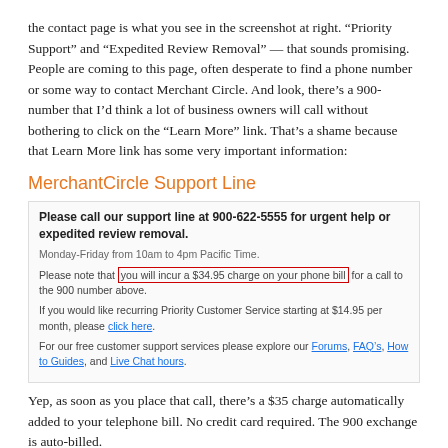the contact page is what you see in the screenshot at right. “Priority Support” and “Expedited Review Removal” — that sounds promising. People are coming to this page, often desperate to find a phone number or some way to contact Merchant Circle. And look, there’s a 900-number that I’d think a lot of business owners will call without bothering to click on the “Learn More” link. That’s a shame because that Learn More link has some very important information:
MerchantCircle Support Line
Please call our support line at 900-622-5555 for urgent help or expedited review removal.
Monday-Friday from 10am to 4pm Pacific Time.
Please note that you will incur a $34.95 charge on your phone bill for a call to the 900 number above.
If you would like recurring Priority Customer Service starting at $14.95 per month, please click here.
For our free customer support services please explore our Forums, FAQ’s, How to Guides, and Live Chat hours.
Yep, as soon as you place that call, there’s a $35 charge automatically added to your telephone bill. No credit card required. The 900 exchange is auto-billed.